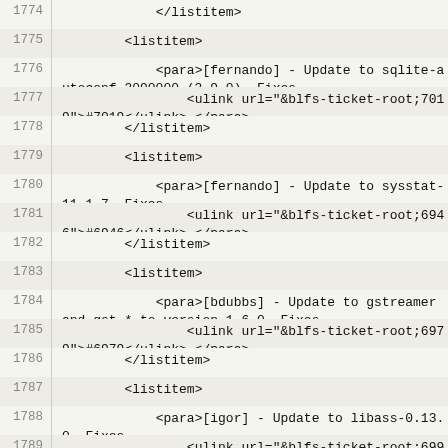1774    </listitem>
1775        <listitem>
1776            <para>[fernando] - Update to sqlite-autoconf-3090000 (3.9.0). Fixes
1777                <ulink url="&blfs-ticket-root;7019">#7019</ulink>.</para>
1778        </listitem>
1779        <listitem>
1780            <para>[fernando] - Update to sysstat-11.1.7. Fixes
1781                <ulink url="&blfs-ticket-root;6946">#6946</ulink>.</para>
1782        </listitem>
1783        <listitem>
1784            <para>[bdubbs] - Update to gstreamer and gst-* to version 1.6.0. Fixes
1785                <ulink url="&blfs-ticket-root;6979">#6979</ulink>.</para>
1786        </listitem>
1787        <listitem>
1788            <para>[igor] - Update to libass-0.13.0. Fixes
1789                <ulink url="&blfs-ticket-root;6992">#6992</ulink>.</para>